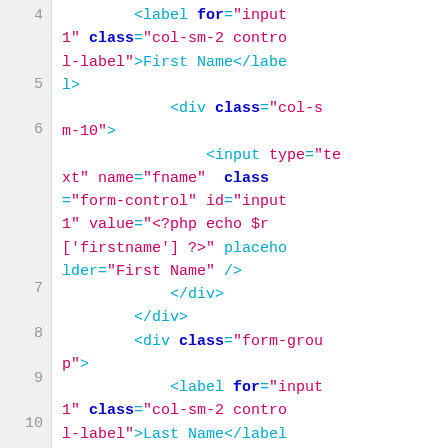[Figure (screenshot): Code editor screenshot showing HTML/PHP code snippet with line numbers 4-11. Lines show label and div elements with Bootstrap classes and PHP echo statements for a form with First Name and Last Name fields.]